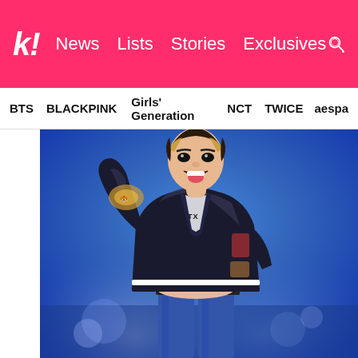k! News  Lists  Stories  Exclusives
BTS  BLACKPINK  Girls' Generation  NCT  TWICE  aespa
[Figure (photo): A K-pop performer on stage, wearing a black satin bomber jacket with embroidery and white stripe trim, jeans, with blonde-tipped hair, performing energetically with tongue out and arm raised.]